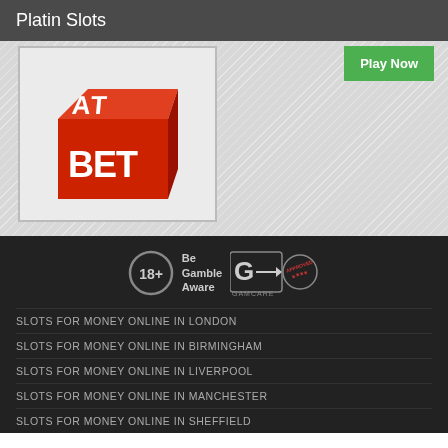Platin Slots
[Figure (logo): BET AT logo - red 3D cube with white text BET AT]
[Figure (other): Play Now green button]
[Figure (other): 18+ Be Gamble Aware and GamCare Approved badges]
SLOTS FOR MONEY ONLINE IN LONDON
SLOTS FOR MONEY ONLINE IN BIRMINGHAM
SLOTS FOR MONEY ONLINE IN LIVERPOOL
SLOTS FOR MONEY ONLINE IN MANCHESTER
SLOTS FOR MONEY ONLINE IN SHEFFIELD